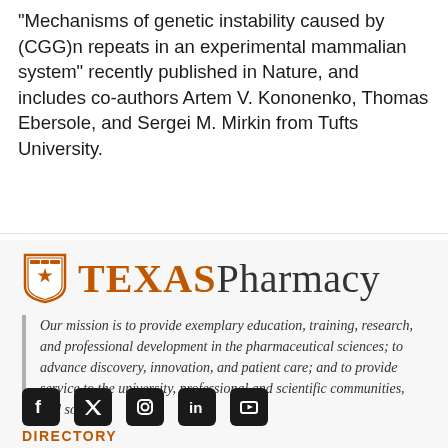“Mechanisms of genetic instability caused by (CGG)n repeats in an experimental mammalian system” recently published in Nature, and includes co-authors Artem V. Kononenko, Thomas Ebersole, and Sergei M. Mirkin from Tufts University.
[Figure (logo): University of Texas Pharmacy logo with shield icon, orange TEXAS wordmark, and dark Pharmacy wordmark]
Our mission is to provide exemplary education, training, research, and professional development in the pharmaceutical sciences; to advance discovery, innovation, and patient care; and to provide service to the university, professional and scientific communities, and society.
[Figure (illustration): Social media icons row: Facebook, Twitter, Instagram, LinkedIn, YouTube]
DIRECTORY